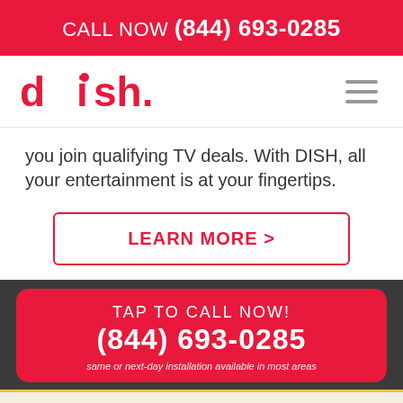CALL NOW (844) 693-0285
[Figure (logo): DISH Network logo in red with stylized lettering]
you join qualifying TV deals. With DISH, all your entertainment is at your fingertips.
LEARN MORE >
TAP TO CALL NOW!
(844) 693-0285
same or next-day installation available in most areas
Order Online   ✓ Call Now